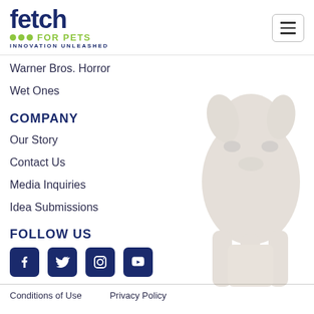fetch FOR PETS INNOVATION UNLEASHED
Warner Bros. Horror
Wet Ones
COMPANY
Our Story
Contact Us
Media Inquiries
Idea Submissions
FOLLOW US
[Figure (infographic): Social media icons: Facebook, Twitter, Instagram, YouTube]
[Figure (photo): Faded silhouette of a small fluffy dog in the background]
Conditions of Use   Privacy Policy